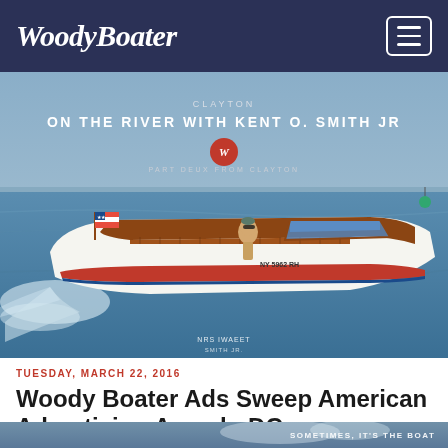WoodyBoater
[Figure (photo): Classic wooden speedboat with American flag on open water, Clayton. Text overlay: 'ON THE RIVER WITH KENT O. SMITH JR' and 'PART DEUX FROM CLAYTON'. Photo credit: NRS IWAEET]
TUESDAY, MARCH 22, 2016
Woody Boater Ads Sweep American Advertising Awards-DC
[Figure (photo): Partial image at bottom with text 'SOMETIMES, IT'S THE BOAT']